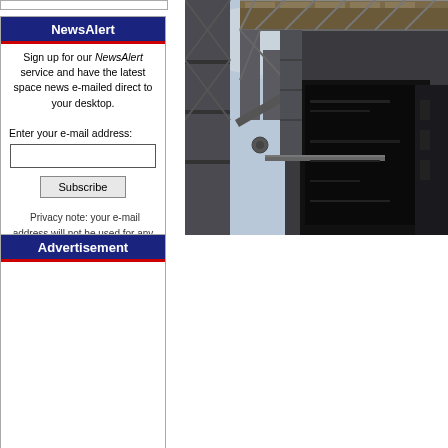NewsAlert
Sign up for our NewsAlert service and have the latest space news e-mailed direct to your desktop.
Enter your e-mail address:
Privacy note: your e-mail address will not be used for any other purpose.
Advertisement
[Figure (photo): Upward-angle photograph of a large industrial or launch facility structure with steel scaffolding, trusses, and a large opening or door, partially showing wooden beams and cloudy sky]